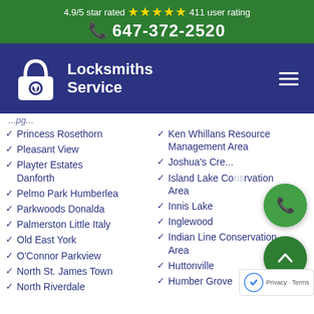4.9/5 star rated ★★★★★ 411 user rating
☎ 647-372-2520
[Figure (logo): Locksmiths Service logo with padlock icon on navy background]
Princess Rosethorn
Pleasant View
Playter Estates Danforth
Pelmo Park Humberlea
Parkwoods Donalda
Palmerston Little Italy
Old East York
O'Connor Parkview
North St. James Town
North Riverdale
Ken Whillans Resource Management Area
Joshua's Creek
Island Lake Conservation Area
Innis Lake
Inglewood
Indian Line Conservation Area
Huttonville
Humber Grove